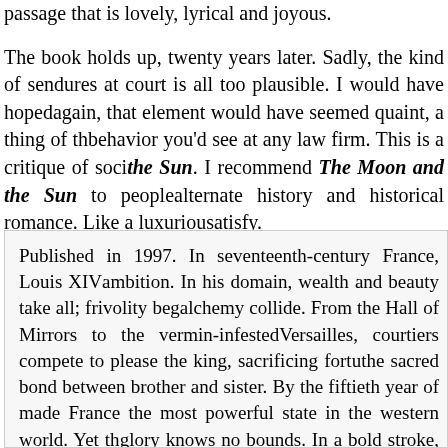passage that is lovely, lyrical and joyous. The book holds up, twenty years later. Sadly, the kind of sycophancy that endures at court is all too plausible. I would have hoped that, twenty years again, that element would have seemed quaint, a thing of the past, but the behavior you'd see at any law firm. This is a critique of society as much as The Moon and the Sun. I recommend The Moon and the Sun to people who enjoy alternate history and historical romance. Like a luxurious meal, it will satisfy.
Published in 1997. In seventeenth-century France, Louis XIV rules with iron ambition. In his domain, wealth and beauty take all; frivolity begets power; alchemy collide. From the Hall of Mirrors to the vermin-infested dungeons of Versailles, courtiers compete to please the king, sacrificing fortune, love, even the sacred bond between brother and sister. By the fiftieth year of his reign, he has made France the most powerful state in the western world. Yet the Sun King's glory knows no bounds. In a bold stroke, he sends his natural philosopher on expedition to seek the source of immortality — the rare, perhaps mythical sea-m For the glory, of his God, his country, and his king, Father de la Croix de treasures: one heavy shroud packed in ice...and a covered